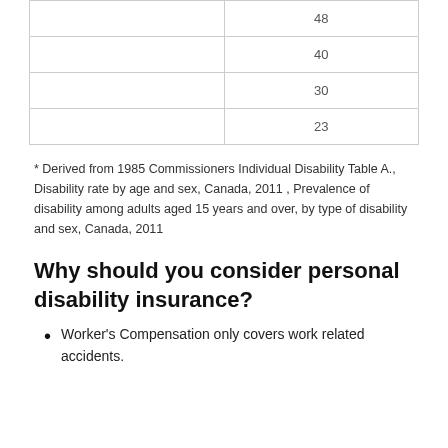|  | 48 |
|  | 40 |
|  | 30 |
|  | 23 |
* Derived from 1985 Commissioners Individual Disability Table A., Disability rate by age and sex, Canada, 2011 , Prevalence of disability among adults aged 15 years and over, by type of disability and sex, Canada, 2011
Why should you consider personal disability insurance?
Worker's Compensation only covers work related accidents.